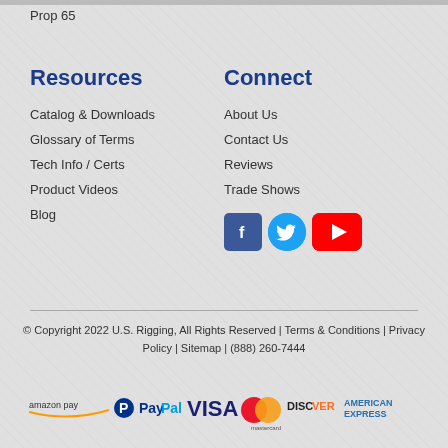Prop 65
Resources
Catalog & Downloads
Glossary of Terms
Tech Info / Certs
Product Videos
Blog
Connect
About Us
Contact Us
Reviews
Trade Shows
[Figure (illustration): Social media icons: Facebook (blue square with F), Twitter (blue circle with bird), YouTube (red rectangle with play button)]
© Copyright 2022 U.S. Rigging, All Rights Reserved | Terms & Conditions | Privacy Policy | Sitemap | (888) 260-7444
[Figure (infographic): Payment method logos: amazon pay, PayPal (blue P), PayPal text, VISA (blue), Mastercard (overlapping red and orange circles), DISCOVER, AMERICAN EXPRESS]